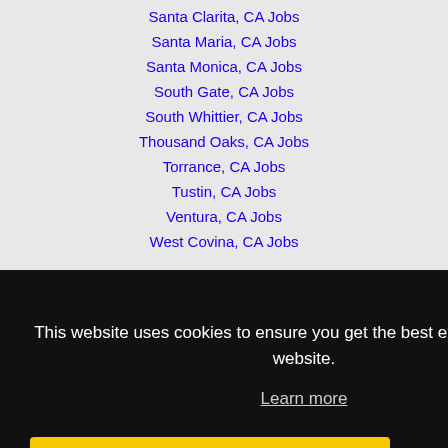Santa Clarita, CA Jobs
Santa Maria, CA Jobs
Santa Monica, CA Jobs
South Gate, CA Jobs
South Whittier, CA Jobs
Thousand Oaks, CA Jobs
Torrance, CA Jobs
Tustin, CA Jobs
Ventura, CA Jobs
West Covina, CA Jobs
This website uses cookies to ensure you get the best experience on our website.
Learn more
Got it!